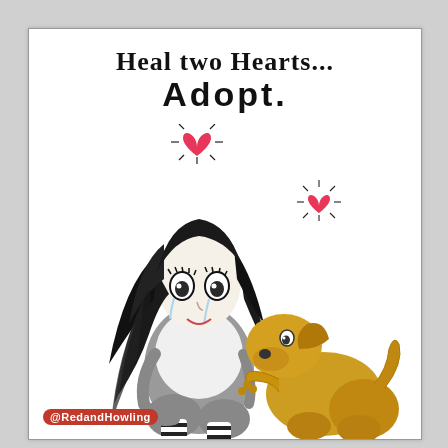HEAL TWO HEARTS... ADOPT.
[Figure (illustration): A cartoon illustration of a sad pale girl with long dark messy hair, sitting hugging her knees, with a golden dog leaning up to nuzzle/kiss her cheek. Two pink heart symbols with radiating lines float above them. The girl is wearing a striped outfit. The overall style is quirky and emotive, in black, white, and muted tones with the dog in golden yellow.]
@RedandHowling